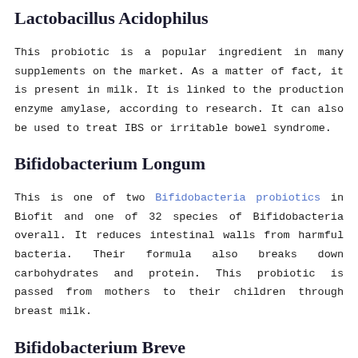Lactobacillus Acidophilus
This probiotic is a popular ingredient in many supplements on the market. As a matter of fact, it is present in milk. It is linked to the production enzyme amylase, according to research. It can also be used to treat IBS or irritable bowel syndrome.
Bifidobacterium Longum
This is one of two Bifidobacteria probiotics in Biofit and one of 32 species of Bifidobacteria overall. It reduces intestinal walls from harmful bacteria. Their formula also breaks down carbohydrates and protein. This probiotic is passed from mothers to their children through breast milk.
Bifidobacterium Breve
The last probiotic is usually found in digestive health